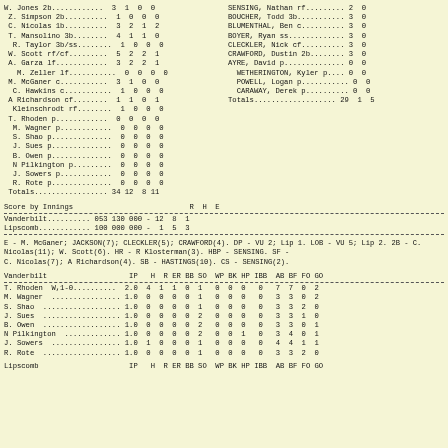| Player | AB | R | H | RBI |
| --- | --- | --- | --- | --- |
| W. Jones 2b | 3 | 1 | 0 | 0 |
| Z. Simpson 2b | 1 | 0 | 0 | 0 |
| C. Nicolas 1b | 3 | 2 | 1 | 2 |
| T. Mansolino 3b | 4 | 1 | 1 | 0 |
| R. Taylor 3b/ss | 1 | 0 | 0 | 0 |
| W. Scott rf/cf | 5 | 2 | 2 | 1 |
| A. Garza lf | 3 | 2 | 2 | 1 |
| M. Zeller lf | 0 | 0 | 0 | 0 |
| M. McGaner c | 3 | 1 | 0 | 0 |
| C. Hawkins c | 1 | 0 | 0 | 0 |
| A Richardson cf | 1 | 1 | 0 | 1 |
| Kleinschrodt rf | 1 | 0 | 0 | 0 |
| T. Rhoden p | 0 | 0 | 0 | 0 |
| M. Wagner p | 0 | 0 | 0 | 0 |
| S. Shao p | 0 | 0 | 0 | 0 |
| J. Sues p | 0 | 0 | 0 | 0 |
| B. Owen p | 0 | 0 | 0 | 0 |
| N Pilkington p | 0 | 0 | 0 | 0 |
| J. Sowers p | 0 | 0 | 0 | 0 |
| R. Rote p | 0 | 0 | 0 | 0 |
| Totals | 34 | 12 | 8 | 11 |
| Player | AB | R | H | RBI |
| --- | --- | --- | --- | --- |
| SENSING, Nathan rf | 2 | 0 |  |  |
| BOUCHER, Todd 3b | 3 | 0 |  |  |
| BLUMENTHAL, Ben c | 3 | 0 |  |  |
| BOYER, Ryan ss | 3 | 0 |  |  |
| CLECKLER, Nick cf | 3 | 0 |  |  |
| CRAWFORD, Dustin 2b | 3 | 0 |  |  |
| AYRE, David p | 0 | 0 |  |  |
| WETHERINGTON, Kyler p | 0 | 0 |  |  |
| POWELL, Logan p | 0 | 0 |  |  |
| CARAWAY, Derek p | 0 | 0 |  |  |
| Totals | 29 | 1 | 5 |  |
| Team | Inn1 | Inn2 | R | H | E |
| --- | --- | --- | --- | --- | --- |
| Vanderbilt | 053 130 | 000 | 12 | 8 | 1 |
| Lipscomb | 100 000 | 000 | 1 | 5 | 3 |
E - M. McGaner; JACKSON(7); CLECKLER(5); CRAWFORD(4). DP - VU 2; Lip 1. LOB - VU 5; Lip 2. 2B - C. Nicolas(11); W. Scott(6). HR - R Klosterman(3). HBP - SENSING. SF - C. Nicolas(7); A Richardson(4). SB - HASTINGS(10). CS - SENSING(2).
| Vanderbilt | IP | H | R | ER | BB | SO | WP | BK | HP | IBB | AB | BF | FO | GO |
| --- | --- | --- | --- | --- | --- | --- | --- | --- | --- | --- | --- | --- | --- | --- |
| T. Rhoden  W,1-0 | 2.0 | 4 | 1 | 1 | 0 | 1 | 0 | 0 | 0 | 0 | 7 | 7 | 0 | 2 |
| M. Wagner | 1.0 | 0 | 0 | 0 | 0 | 1 | 0 | 0 | 0 | 0 | 3 | 3 | 0 | 2 |
| S. Shao | 1.0 | 0 | 0 | 0 | 0 | 1 | 0 | 0 | 0 | 0 | 3 | 3 | 2 | 0 |
| J. Sues | 1.0 | 0 | 0 | 0 | 0 | 2 | 0 | 0 | 0 | 0 | 3 | 3 | 1 | 0 |
| B. Owen | 1.0 | 0 | 0 | 0 | 0 | 2 | 0 | 0 | 0 | 0 | 3 | 3 | 0 | 1 |
| N Pilkington | 1.0 | 0 | 0 | 0 | 0 | 2 | 0 | 0 | 1 | 0 | 3 | 4 | 0 | 1 |
| J. Sowers | 1.0 | 1 | 0 | 0 | 0 | 1 | 0 | 0 | 0 | 0 | 4 | 4 | 1 | 1 |
| R. Rote | 1.0 | 0 | 0 | 0 | 0 | 1 | 0 | 0 | 0 | 0 | 3 | 3 | 2 | 0 |
Lipscomb   IP  H  R ER BB SO  WP BK HP IBB  AB BF FO GO